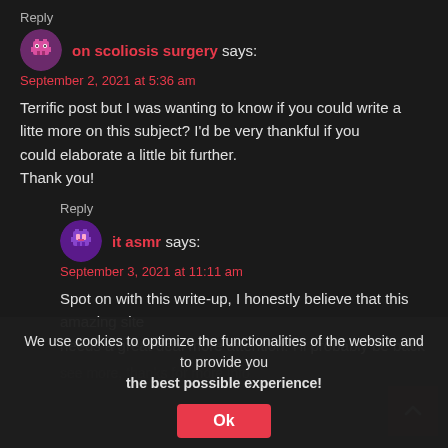Reply
on scoliosis surgery says:
September 2, 2021 at 5:36 am
Terrific post but I was wanting to know if you could write a litte more on this subject? I'd be very thankful if you could elaborate a little bit further. Thank you!
Reply
it asmr says:
September 3, 2021 at 11:11 am
Spot on with this write-up, I honestly believe that this amazing site needs a great deal more attention. I'll probably be back see more, thanks for more info
We use cookies to optimize the functionalities of the website and to provide you the best possible experience!
Ok